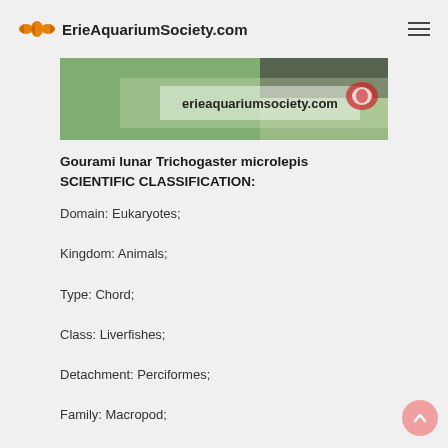ErieAquariumSociety.com
[Figure (photo): Cropped photo of a fish or aquatic plant with green spiky textures and the watermark 'erieaquariumsociety.com' overlaid in white text with a red fish logo.]
Gourami lunar Trichogaster microlepis SCIENTIFIC CLASSIFICATION:
Domain: Eukaryotes;
Kingdom: Animals;
Type: Chord;
Class: Liverfishes;
Detachment: Perciformes;
Family: Macropod;
Genus: Gourami-nitriform;